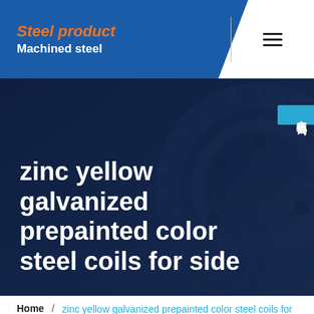Steel product / Machined steel
[Figure (photo): Dark blue toned hero image with steel coil/gear mechanical parts, overlaid with large white bold title text: zinc yellow galvanized prepainted color steel coils for side]
zinc yellow galvanized prepainted color steel coils for side
Home / zinc yellow galvanized prepainted color steel coils for side